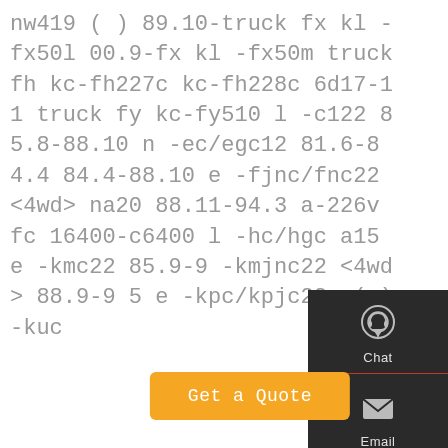nw419 ( ) 89.10-truck fx kl -fx50l 00.9-fx kl -fx50m truck fh kc-fh227c kc-fh228c 6d17-11 truck fy kc-fy510 l -c122 85.8-88.10 n -ec/egc12 81.6-84.4 84.4-88.10 e -fjnc/fnc22 <4wd> na20 88.11-94.3 a-226v fc 16400-c6400 l -hc/hgc a15 e -kmc22 85.9-9 -kmjnc22 <4wd> 88.9-9 5 e -kpc/kpjc22 n(s)-kuc
[Figure (infographic): Sidebar with Chat, Email, Contact, and Top navigation icons on dark background]
Get a Quote